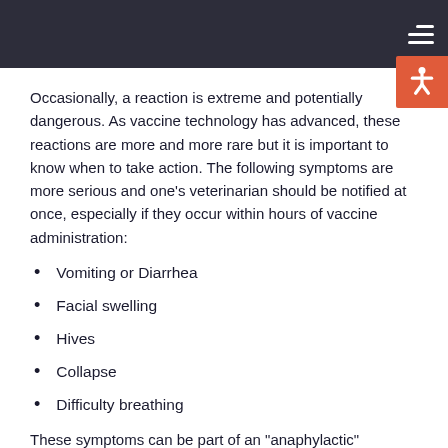Occasionally, a reaction is extreme and potentially dangerous. As vaccine technology has advanced, these reactions are more and more rare but it is important to know when to take action. The following symptoms are more serious and one's veterinarian should be notified at once, especially if they occur within hours of vaccine administration:
Vomiting or Diarrhea
Facial swelling
Hives
Collapse
Difficulty breathing
These symptoms can be part of an "anaphylactic" reactions which is more extreme and potentially life-threatening in its most severe form. Any symptoms from this list should be taken seriously and steps should be taken to alter future vaccination plans to avoid more severe